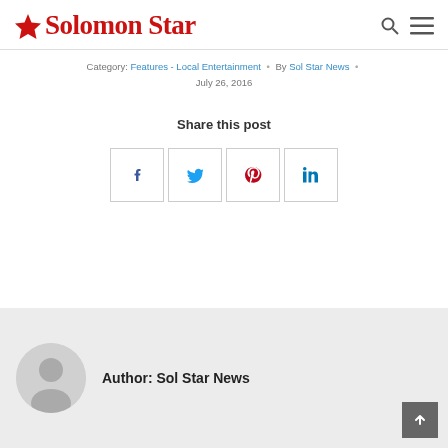Solomon Star
Category: Features - Local Entertainment • By Sol Star News • July 26, 2016
Share this post
[Figure (infographic): Social share buttons: Facebook, Twitter, Pinterest, LinkedIn]
Author: Sol Star News
[Figure (photo): Generic user avatar placeholder circle with person silhouette]